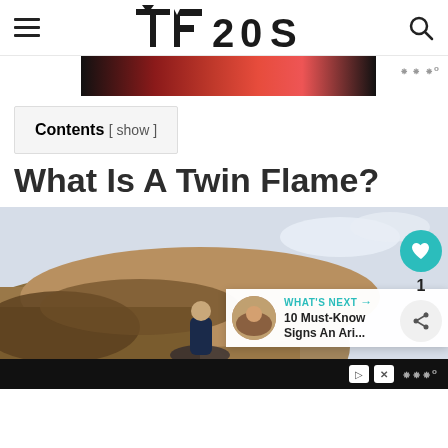TF20S
[Figure (screenshot): Red gradient advertisement banner at top of page]
Contents [ show ]
What Is A Twin Flame?
[Figure (photo): Person sitting on rocky terrain outdoors, rocky landscape with sky]
WHAT'S NEXT → 10 Must-Know Signs An Ari...